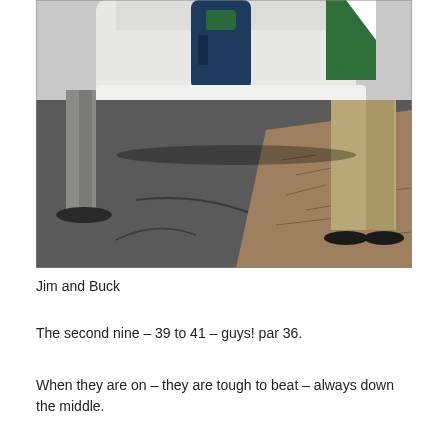[Figure (photo): Outdoor photo showing the legs and lower bodies of two people standing near the back of a golf cart on a paved path. A navy blue golf bag and green towel are visible in the cart. The pavement transitions to sandy/pine-needle ground on the right side.]
Jim and Buck
The second nine – 39 to 41 – guys! par 36.
When they are on – they are tough to beat – always down the middle.